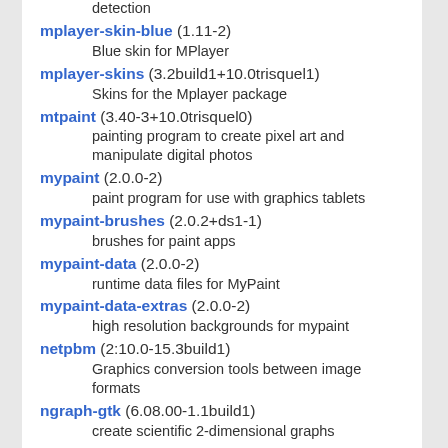detection
mplayer-skin-blue (1.11-2)
    Blue skin for MPlayer
mplayer-skins (3.2build1+10.0trisquel1)
    Skins for the Mplayer package
mtpaint (3.40-3+10.0trisquel0)
    painting program to create pixel art and manipulate digital photos
mypaint (2.0.0-2)
    paint program for use with graphics tablets
mypaint-brushes (2.0.2+ds1-1)
    brushes for paint apps
mypaint-data (2.0.0-2)
    runtime data files for MyPaint
mypaint-data-extras (2.0.0-2)
    high resolution backgrounds for mypaint
netpbm (2:10.0-15.3build1)
    Graphics conversion tools between image formats
ngraph-gtk (6.08.00-1.1build1)
    create scientific 2-dimensional graphs
ngraph-gtk-addin-import-ps (6.08.00-1.1build1)
    import-ps addin of Ngraph-gtk
ngraph-gtk-addin-spellcheck (6.08.00-1.1build1)
    spell check addin of Ngraph-gtk
ngraph-gtk-addin-tex-equation (6.08.00-